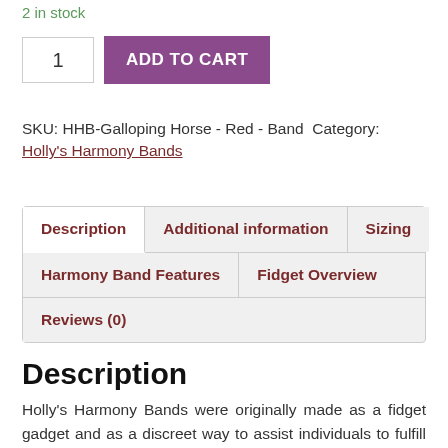2 in stock
1  ADD TO CART
SKU: HHB-Galloping Horse - Red - Band Category: Holly's Harmony Bands
Description | Additional information | Sizing | Harmony Band Features | Fidget Overview | Reviews (0)
Description
Holly's Harmony Bands were originally made as a fidget gadget and as a discreet way to assist individuals to fulfill their needs to fidget in the classroom and workplace  without disrupting others